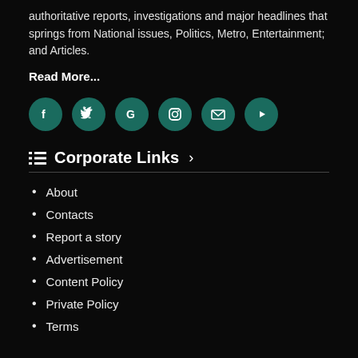authoritative reports, investigations and major headlines that springs from National issues, Politics, Metro, Entertainment; and Articles.
Read More...
[Figure (infographic): Row of 6 social media icon buttons (Facebook, Twitter, Google, Instagram, Email, YouTube) as teal/dark-green circular buttons with white icons]
Corporate Links
About
Contacts
Report a story
Advertisement
Content Policy
Private Policy
Terms